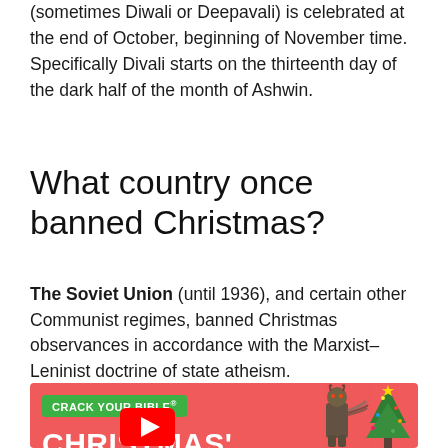(sometimes Diwali or Deepavali) is celebrated at the end of October, beginning of November time. Specifically Divali starts on the thirteenth day of the dark half of the month of Ashwin.
What country once banned Christmas?
The Soviet Union (until 1936), and certain other Communist regimes, banned Christmas observances in accordance with the Marxist–Leninist doctrine of state atheism.
[Figure (other): Advertisement banner with coral/red background. Shows 'CRACK YOUR BIBLE' logo in green bar, 'CHRISTMAS'' text in large white bold letters, a Krampus figure and Christmas tree illustration on the right, and a YouTube play button partially visible at bottom.]